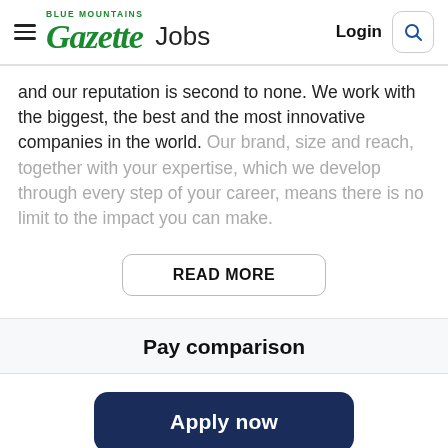Blue Mountains Gazette Jobs | Login
and our reputation is second to none. We work with the biggest, the best and the most innovative companies in the world. Our brand, size and reach, together with your expertise, which we develop through every step of your career, means there is no limit to the impact you can make.
READ MORE
Pay comparison
Apply now